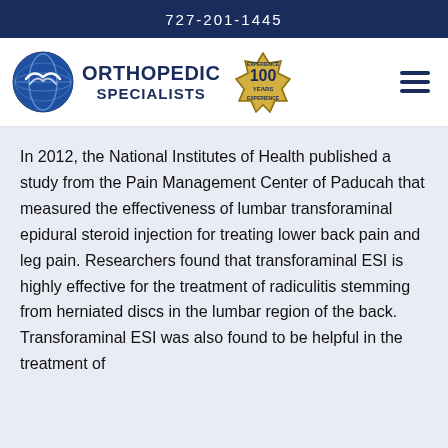727-201-1445
[Figure (logo): Orthopedic Specialists logo with blue globe icon and '100 Years Experience' badge]
In 2012, the National Institutes of Health published a study from the Pain Management Center of Paducah that measured the effectiveness of lumbar transforaminal epidural steroid injection for treating lower back pain and leg pain. Researchers found that transforaminal ESI is highly effective for the treatment of radiculitis stemming from herniated discs in the lumbar region of the back. Transforaminal ESI was also found to be helpful in the treatment of